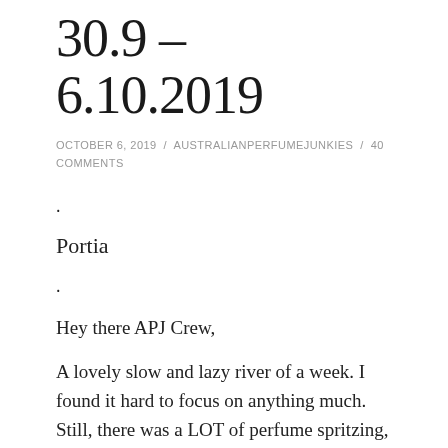30.9 – 6.10.2019
OCTOBER 6, 2019 / AUSTRALIANPERFUMEJUNKIES / 40 COMMENTS
.
Portia
.
Hey there APJ Crew,
A lovely slow and lazy river of a week. I found it hard to focus on anything much. Still, there was a LOT of perfume spritzing, some exercise, friends, work, food and Jin. A fine week of regrouping and reflection, sometimes